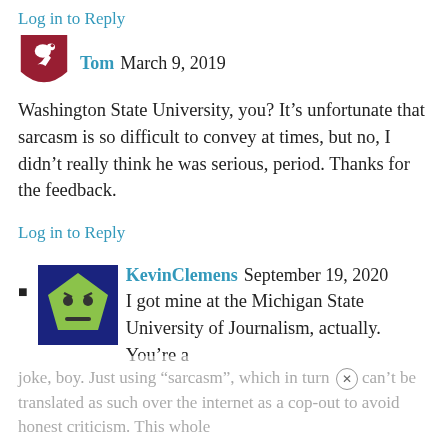Log in to Reply
Tom  March 9, 2019
Washington State University, you? It’s unfortunate that sarcasm is so difficult to convey at times, but no, I didn’t really think he was serious, period. Thanks for the feedback.
Log in to Reply
KevinClemens  September 19, 2020
I got mine at the Michigan State University of Journalism, actually. You’re a joke, boy. Just using “sarcasm”, which in turn can’t be translated as such over the internet as a cop-out to avoid honest criticism. This whole